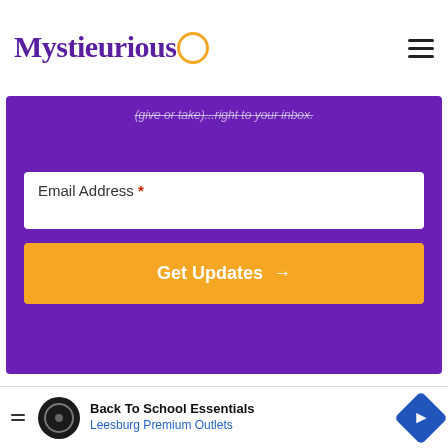Mystiecurious
(give or take)...right to your inbox.
Email Address *
Get Updates →
Further Insights
[Figure (screenshot): Advertisement banner: Back To School Essentials - Leesburg Premium Outlets]
Back To School Essentials
Leesburg Premium Outlets